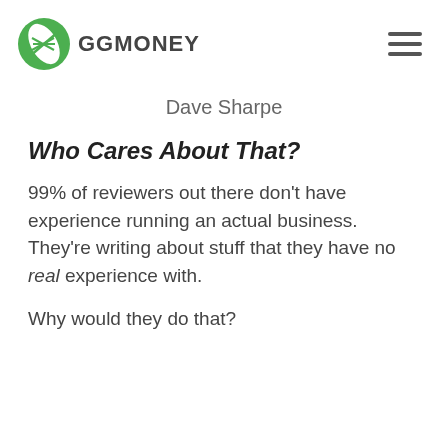GGMONEY
Dave Sharpe
Who Cares About That?
99% of reviewers out there don't have experience running an actual business. They're writing about stuff that they have no real experience with.
Why would they do that?